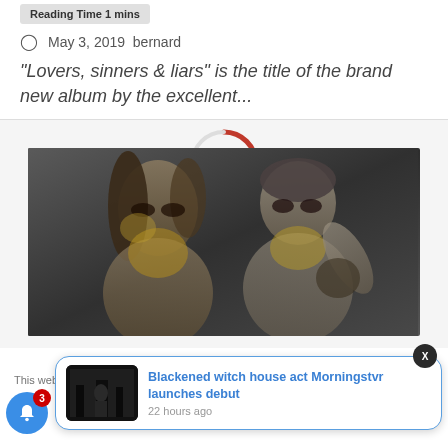Reading Time 1 mins
May 3, 2019  bernard
“Lovers, sinners & liars” is the title of the brand new album by the excellent...
[Figure (photo): Band photo showing two figures with dramatic dark makeup and styling against a dark grey background]
This website us... me you're...
[Figure (photo): Notification popup showing thumbnail of dark forest/figure image with text: Blackened witch house act Morningstvr launches debut, 22 hours ago]